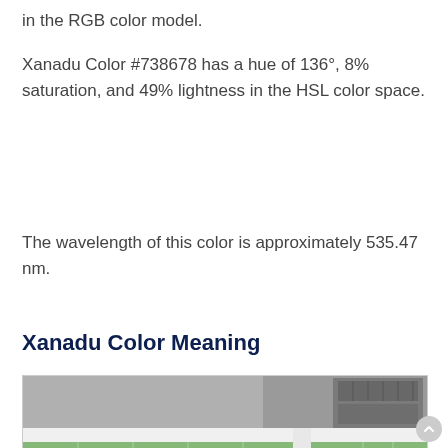in the RGB color model.
Xanadu Color #738678 has a hue of 136°, 8% saturation, and 49% lightness in the HSL color space.
The wavelength of this color is approximately 535.47 nm.
Xanadu Color Meaning
[Figure (photo): Photo of a building exterior showing green-painted tile walls with white borders/frames and industrial HVAC equipment visible at the top right.]